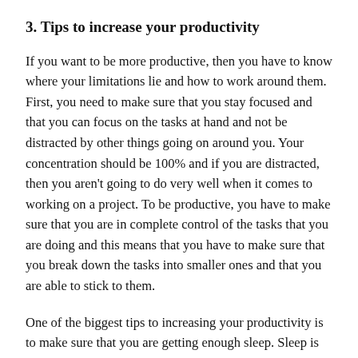3. Tips to increase your productivity
If you want to be more productive, then you have to know where your limitations lie and how to work around them. First, you need to make sure that you stay focused and that you can focus on the tasks at hand and not be distracted by other things going on around you. Your concentration should be 100% and if you are distracted, then you aren't going to do very well when it comes to working on a project. To be productive, you have to make sure that you are in complete control of the tasks that you are doing and this means that you have to make sure that you break down the tasks into smaller ones and that you are able to stick to them.
One of the biggest tips to increasing your productivity is to make sure that you are getting enough sleep. Sleep is an important part of our lives and it allows us to rest and recharge for the next day. You also will find that